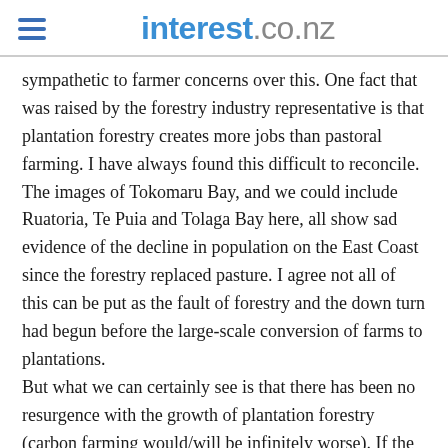interest.co.nz
sympathetic to farmer concerns over this. One fact that was raised by the forestry industry representative is that plantation forestry creates more jobs than pastoral farming. I have always found this difficult to reconcile. The images of Tokomaru Bay, and we could include Ruatoria, Te Puia and Tolaga Bay here, all show sad evidence of the decline in population on the East Coast since the forestry replaced pasture. I agree not all of this can be put as the fault of forestry and the down turn had begun before the large-scale conversion of farms to plantations.
But what we can certainly see is that there has been no resurgence with the growth of plantation forestry (carbon farming would/will be infinitely worse). If the jobs are being created it certainly not lifting the population in the rural sector. Oddly enough I was born and bred at Matawai and spent several years ‘up the coast’ shepherding inland